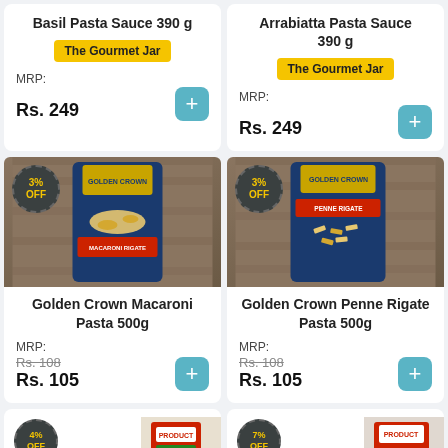Basil Pasta Sauce 390 g
The Gourmet Jar
MRP: Rs. 249
Arrabiatta Pasta Sauce 390 g
The Gourmet Jar
MRP: Rs. 249
[Figure (photo): Golden Crown Macaroni Rigate pasta package with 3% OFF badge]
Golden Crown Macaroni Pasta 500g
MRP: Rs. 108 Rs. 105
[Figure (photo): Golden Crown Penne Rigate pasta package with 3% OFF badge]
Golden Crown Penne Rigate Pasta 500g
MRP: Rs. 108 Rs. 105
[Figure (photo): Partial product card with 4% OFF badge]
[Figure (photo): Partial product card with 7% OFF badge]